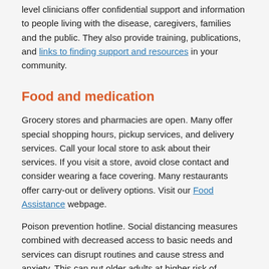level clinicians offer confidential support and information to people living with the disease, caregivers, families and the public. They also provide training, publications, and links to finding support and resources in your community.
Food and medication
Grocery stores and pharmacies are open. Many offer special shopping hours, pickup services, and delivery services. Call your local store to ask about their services. If you visit a store, avoid close contact and consider wearing a face covering. Many restaurants offer carry-out or delivery options. Visit our Food Assistance webpage.
Poison prevention hotline. Social distancing measures combined with decreased access to basic needs and services can disrupt routines and cause stress and anxiety. This can put older adults at higher risk of accidental or intentional poisoning due to medication